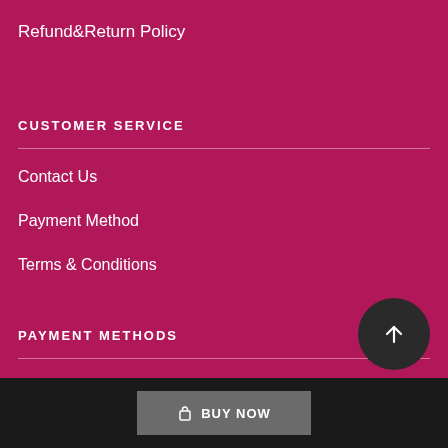Refund&Return Policy
CUSTOMER SERVICE
Contact Us
Payment Method
Terms & Conditions
PAYMENT METHODS
BUY NOW